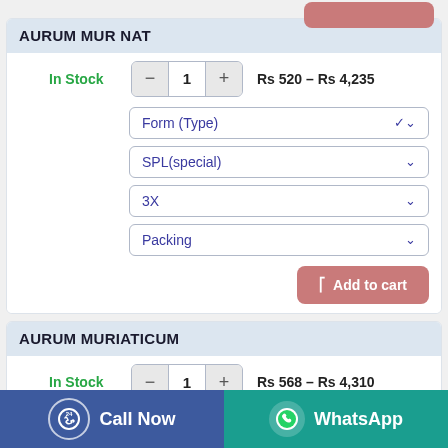AURUM MUR NAT
In Stock  —  1  +  Rs 520 – Rs 4,235
Form (Type)
SPL(special)
3X
Packing
Add to cart
AURUM MURIATICUM
In Stock  —  1  +  Rs 568 – Rs 4,310
Call Now  WhatsApp